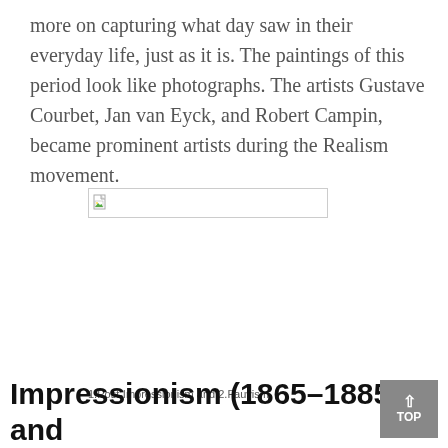more on capturing what day saw in their everyday life, just as it is. The paintings of this period look like photographs. The artists Gustave Courbet, Jan van Eyck, and Robert Campin, became prominent artists during the Realism movement.
[Figure (photo): Broken image placeholder with small document icon in top-left corner]
1.Post-Impressionism and 2.Fauvism
Impressionism (1865–1885) and